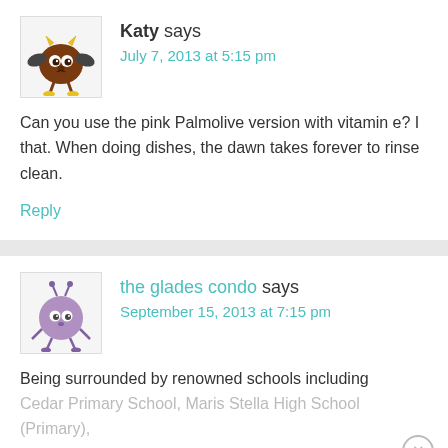Katy says
July 7, 2013 at 5:15 pm
[Figure (illustration): Cartoon avatar of a brown creature with wings and yellow feet]
Can you use the pink Palmolive version with vitamin e? I that. When doing dishes, the dawn takes forever to rinse clean.
Reply
the glades condo says
September 15, 2013 at 7:15 pm
[Figure (illustration): Cartoon avatar of a purple round creature with antennae and legs]
Being surrounded by renowned schools including Cedar Primary School, Maris Stella High School (Primary), and the St. Andrew's Village suite of Kindergarten